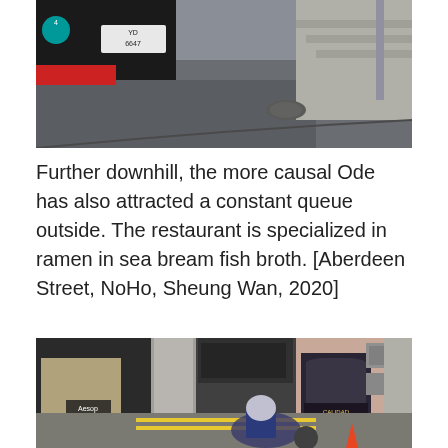[Figure (photo): Street scene showing parked cars and road in Hong Kong, viewed from above/side angle. A red and black vehicle with license plate YD 6647 is visible at top left, and concrete steps/pavement on the right side.]
Further downhill, the more causal Ode has also attracted a constant queue outside. The restaurant is specialized in ramen in sea bream fish broth. [Aberdeen Street, NoHo, Sheung Wan, 2020]
[Figure (photo): Street scene in NoHo, Hong Kong showing Aesop store on the left with a large concrete pillar, and across the street various storefronts including Calidad restaurant with a dark archway entrance. A motorcyclist in a blue jacket and helmet rides in the foreground on a street with yellow lane markings. An air conditioning unit is visible on the right building.]